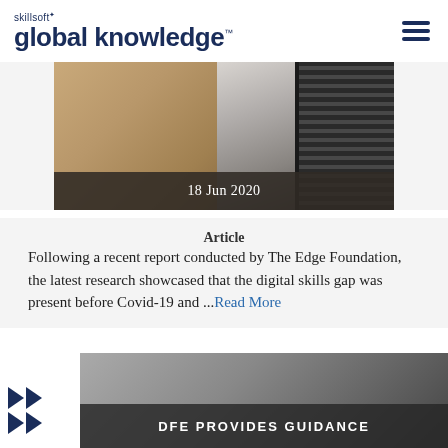skillsoft global knowledge
[Figure (photo): Photo of a laptop on a wooden desk, partially visible. A dark overlay at the bottom shows the date '18 Jun 2020'.]
Article
Following a recent report conducted by The Edge Foundation, the latest research showcased that the digital skills gap was present before Covid-19 and ...Read More
[Figure (photo): Partial thumbnail image at the bottom of the page with text overlay reading 'DFE PROVIDES GUIDANCE']